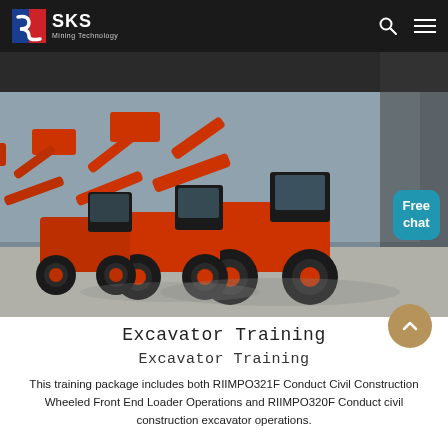SKS Mining Technology
[Figure (photo): A row of orange wheeled front end loaders / excavators parked in an industrial yard, viewed from a diagonal angle, with a building in the background.]
Excavator Training
Excavator Training
This training package includes both RIIMPO321F Conduct Civil Construction Wheeled Front End Loader Operations and RIIMPO320F Conduct civil construction excavator operations.